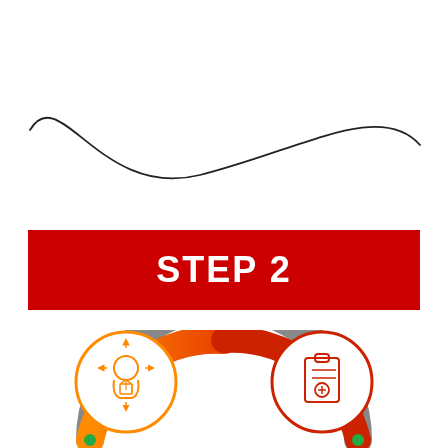[Figure (illustration): A decorative wavy/swoosh curve line running across the upper portion of the page, dark gray/black thin line with a wave shape from left side curving down and back up across the page]
STEP 2
[Figure (infographic): Partial infographic showing circular icons connected by a colorful arc (orange, red, gray). Left circle has an orange outline with a head/brain/cube icon (thinking/strategy), right circle has a red outline with a clipboard/checklist icon. The arc between them has orange, red, and gray gradient segments with small green dots at the bottom ends.]